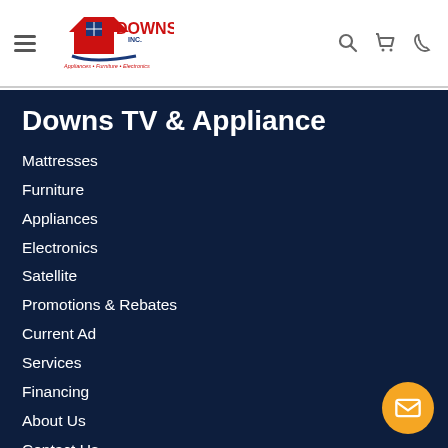[Figure (logo): Downs Inc. logo with house/roof icon in red, blue windows, text DOWNS INC. in blue and red, tagline Appliances • Furniture • Electronics]
Downs TV & Appliance
Mattresses
Furniture
Appliances
Electronics
Satellite
Promotions & Rebates
Current Ad
Services
Financing
About Us
Contact Us
Return & Store Policies